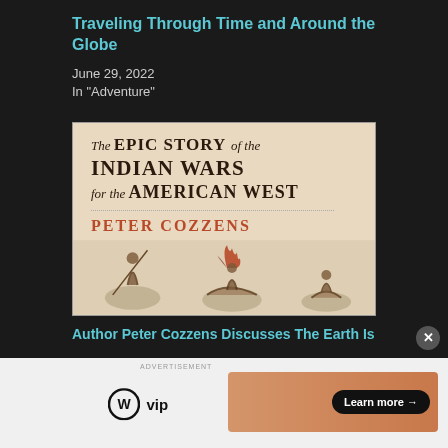Traveling Through Time and Around the Globe
June 29, 2022
In "Adventure"
[Figure (photo): Book cover of 'The Epic Story of the Indian Wars for the American West' by Peter Cozzens, showing text on a beige/cream background with illustrated Native American figures on horseback at the bottom.]
Author Peter Cozzens Discusses The Earth Is
ADVERTISEMENT